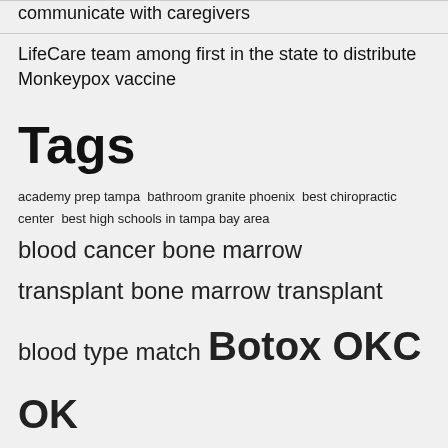communicate with caregivers
LifeCare team among first in the state to distribute Monkeypox vaccine
Tags
academy prep tampa  bathroom granite phoenix  best chiropractic center  best high schools in tampa bay area  blood cancer bone marrow transplant  bone marrow transplant  blood type match  Botox OKC OK  Braces Oklahoma City OK  carpal tunnel treatment massage  chiropractor and acupuncture  chiropractor in longview tx  chiropractors in Owasso  citizen